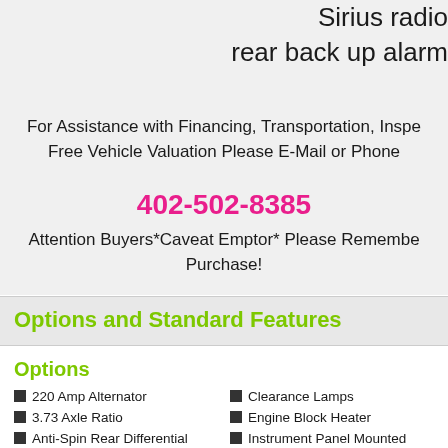Sirius radio
rear back up alarm
For Assistance with Financing, Transportation, Inspection or a Free Vehicle Valuation Please E-Mail or Phone
402-502-8385
Attention Buyers*Caveat Emptor* Please Remember… Purchase!
Options and Standard Features
Options
220 Amp Alternator
3.73 Axle Ratio
Anti-Spin Rear Differential
Center High Mount Stop Lamp W/Camera
Clearance Lamps
Engine Block Heater
Instrument Panel Mounted Switch Bank
LED Bed Lighting